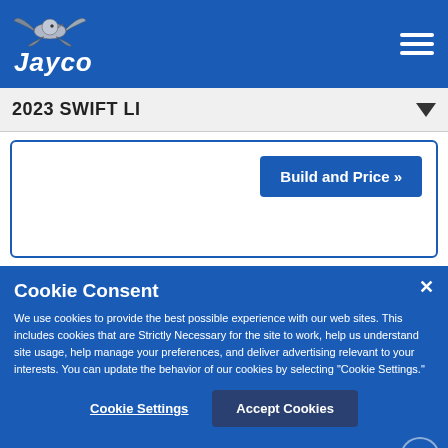[Figure (logo): Jayco logo with bird/swallow icon above italic bold text 'Jayco' in white on blue background]
2023 SWIFT LI
Build and Price »
Cookie Consent
We use cookies to provide the best possible experience with our web sites. This includes cookies that are Strictly Necessary for the site to work, help us understand site usage, help manage your preferences, and deliver advertising relevant to your interests. You can update the behavior of our cookies by selecting "Cookie Settings."
Cookie Settings
Accept Cookies